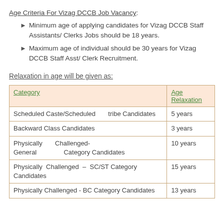Age Criteria For Vizag DCCB Job Vacancy:
Minimum age of applying candidates for Vizag DCCB Staff Assistants/ Clerks Jobs should be 18 years.
Maximum age of individual should be 30 years for Vizag DCCB Staff Asst/ Clerk Recruitment.
Relaxation in age will be given as:
| Category | Age Relaxation |
| --- | --- |
| Scheduled Caste/Scheduled tribe Candidates | 5 years |
| Backward Class Candidates | 3 years |
| Physically Challenged- General Category Candidates | 10 years |
| Physically Challenged – SC/ST Category Candidates | 15 years |
| Physically Challenged - BC Category Candidates | 13 years |